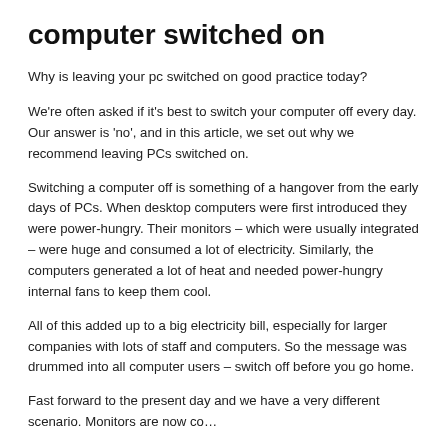computer switched on
Why is leaving your pc switched on good practice today?
We're often asked if it's best to switch your computer off every day. Our answer is 'no', and in this article, we set out why we recommend leaving PCs switched on.
Switching a computer off is something of a hangover from the early days of PCs. When desktop computers were first introduced they were power-hungry. Their monitors – which were usually integrated – were huge and consumed a lot of electricity. Similarly, the computers generated a lot of heat and needed power-hungry internal fans to keep them cool.
All of this added up to a big electricity bill, especially for larger companies with lots of staff and computers. So the message was drummed into all computer users – switch off before you go home.
Fast forward to the present day and we have a very different scenario. Monitors are now…